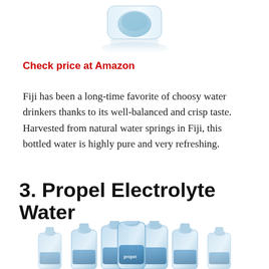[Figure (photo): Partial view of a Fiji water bottle from above, showing the square-shaped clear plastic bottle with a blue cap, cropped at top]
Check price at Amazon
Fiji has been a long-time favorite of choosy water drinkers thanks to its well-balanced and crisp taste. Harvested from natural water springs in Fiji, this bottled water is highly pure and very refreshing.
3. Propel Electrolyte Water
[Figure (photo): Group of Propel Electrolyte Water bottles with blue accents and sport caps arranged together, partially cropped at bottom]